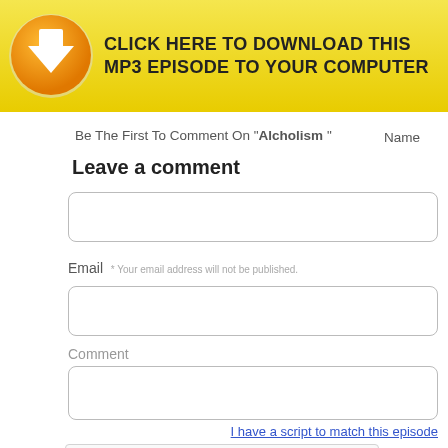[Figure (infographic): Orange download button with white arrow icon and yellow banner reading CLICK HERE TO DOWNLOAD THIS MP3 EPISODE TO YOUR COMPUTER]
Be The First To Comment On "Alcholism "
Name
Leave a comment
Email  * Your email address will not be published.
Comment
I have a script to match this episode
[Figure (other): reCAPTCHA widget with checkbox and I'm not a robot text]